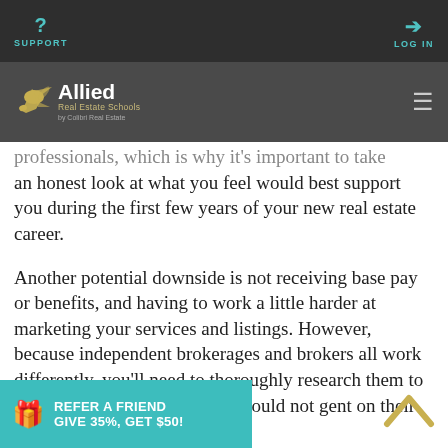SUPPORT | LOG IN
[Figure (logo): Allied Real Estate Schools logo with hummingbird, subtitle 'Real Estate Schools' and 'by Colibri Real Estate']
professionals, which is why it's important to take an honest look at what you feel would best support you during the first few years of your new real estate career.
Another potential downside is not receiving base pay or benefits, and having to work a little harder at marketing your services and listings. However, because independent brokerages and brokers all work differently, you'll need to thoroughly research them to find out what you would and would not [get as an a]gent on their team.
[Figure (infographic): Teal banner at bottom: gift icon, REFER A FRIEND GIVE 35%, GET $50!]